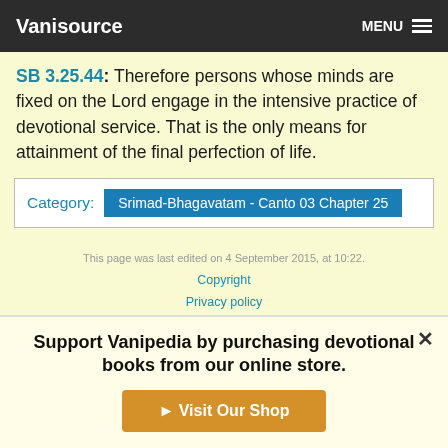Vanisource  MENU
SB 3.25.44: Therefore persons whose minds are fixed on the Lord engage in the intensive practice of devotional service. That is the only means for attainment of the final perfection of life.
| Category | Srimad-Bhagavatam - Canto 03 Chapter 25 |
| --- | --- |
This page was last edited on 4 September 2015, at 10:22.
Copyright
Privacy policy
About Vanisource
Disclaimers
Support Vanipedia by purchasing devotional books from our online store.
Visit Our Shop